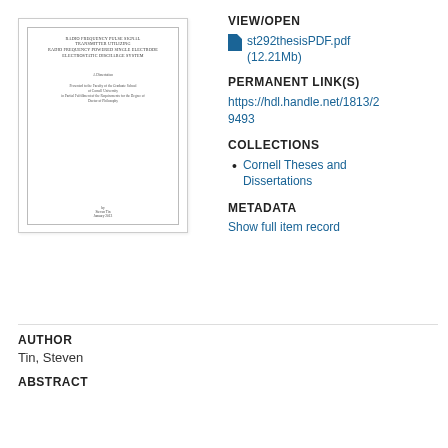[Figure (other): Thumbnail of a thesis document cover page showing title 'RADIO FREQUENCY PULSE SIGNAL TRANSMITTER UTILIZING RADIO FREQUENCY POWERED SINGLE ELECTRODE ELECTROSTATIC DISCHARGE SYSTEM', dissertation text, author name Steven Tin, January 2013]
VIEW/OPEN
st292thesisPDF.pdf (12.21Mb)
PERMANENT LINK(S)
https://hdl.handle.net/1813/29493
COLLECTIONS
Cornell Theses and Dissertations
METADATA
Show full item record
AUTHOR
Tin, Steven
ABSTRACT